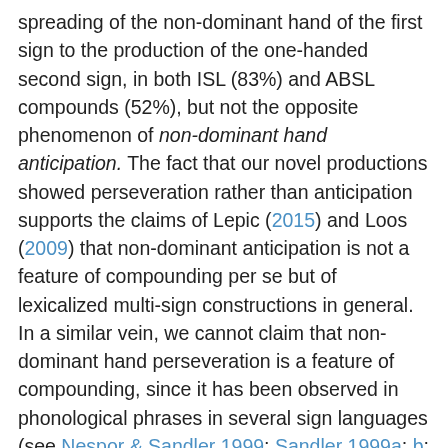spreading of the non-dominant hand of the first sign to the production of the one-handed second sign, in both ISL (83%) and ABSL compounds (52%), but not the opposite phenomenon of non-dominant hand anticipation. The fact that our novel productions showed perseveration rather than anticipation supports the claims of Lepic (2015) and Loos (2009) that non-dominant anticipation is not a feature of compounding per se but of lexicalized multi-sign constructions in general. In a similar vein, we cannot claim that non-dominant hand perseveration is a feature of compounding, since it has been observed in phonological phrases in several sign languages (see Nespor & Sandler 1999; Sandler 1999a; b; 2006; Brentari & Crossley 2002). This phenomenon may be one of the features indicating that the members of a compound or a SASS-construction form one unit, especially when other compounding-specific features have not yet conventionalized. Notably, in ISL loan translations from Hebrew, non-dominant hand perseveration occurred less often than in genuine compounds, which could be because loans had other features indicating they are one unit (e.g., mouthing). On